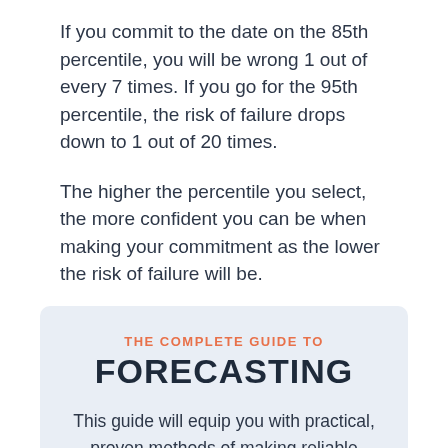If you commit to the date on the 85th percentile, you will be wrong 1 out of every 7 times. If you go for the 95th percentile, the risk of failure drops down to 1 out of 20 times.
The higher the percentile you select, the more confident you can be when making your commitment as the lower the risk of failure will be.
[Figure (infographic): Promotional box with light blue background containing the text 'THE COMPLETE GUIDE TO FORECASTING' and a description about practical methods, plus an orange button at the bottom.]